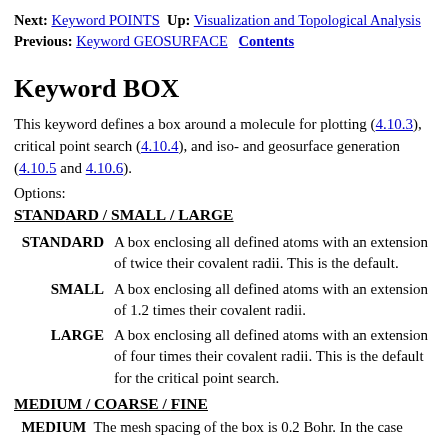Next: Keyword POINTS  Up: Visualization and Topological Analysis  Previous: Keyword GEOSURFACE  Contents
Keyword BOX
This keyword defines a box around a molecule for plotting (4.10.3), critical point search (4.10.4), and iso- and geosurface generation (4.10.5 and 4.10.6).
Options:
STANDARD / SMALL / LARGE
| Term | Description |
| --- | --- |
| STANDARD | A box enclosing all defined atoms with an extension of twice their covalent radii. This is the default. |
| SMALL | A box enclosing all defined atoms with an extension of 1.2 times their covalent radii. |
| LARGE | A box enclosing all defined atoms with an extension of four times their covalent radii. This is the default for the critical point search. |
MEDIUM / COARSE / FINE
MEDIUM  The mesh spacing of the box is 0.2 Bohr. In the case...